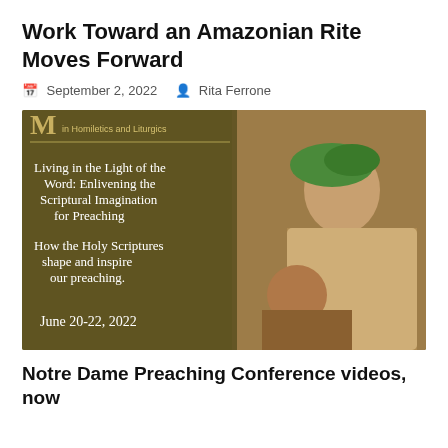Work Toward an Amazonian Rite Moves Forward
September 2, 2022   Rita Ferrone
[Figure (photo): Book or conference program cover showing a painting of women looking upward with text: 'M in Homiletics and Liturgics / Living in the Light of the Word: Enlivening the Scriptural Imagination for Preaching / How the Holy Scriptures shape and inspire our preaching. / June 20-22, 2022']
Notre Dame Preaching Conference videos, now